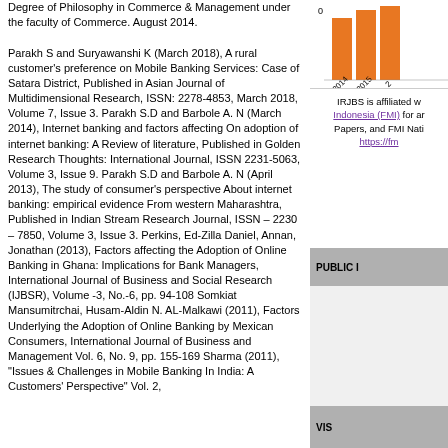Degree of Philosophy in Commerce & Management under the faculty of Commerce. August 2014. Parakh S and Suryawanshi K (March 2018), A rural customer's preference on Mobile Banking Services: Case of Satara District, Published in Asian Journal of Multidimensional Research, ISSN: 2278-4853, March 2018, Volume 7, Issue 3. Parakh S.D and Barbole A. N (March 2014), Internet banking and factors affecting On adoption of internet banking: A Review of literature, Published in Golden Research Thoughts: International Journal, ISSN 2231-5063, Volume 3, Issue 9. Parakh S.D and Barbole A. N (April 2013), The study of consumer's perspective About internet banking: empirical evidence From western Maharashtra, Published in Indian Stream Research Journal, ISSN – 2230 – 7850, Volume 3, Issue 3. Perkins, Ed-Zilla Daniel, Annan, Jonathan (2013), Factors affecting the Adoption of Online Banking in Ghana: Implications for Bank Managers, International Journal of Business and Social Research (IJBSR), Volume -3, No.-6, pp. 94-108 Somkiat Mansumitrchai, Husam-Aldin N. AL-Malkawi (2011), Factors Underlying the Adoption of Online Banking by Mexican Consumers, International Journal of Business and Management Vol. 6, No. 9, pp. 155-169 Sharma (2011), "Issues & Challenges in Mobile Banking In India: A Customers' Perspective" Vol. 2,
[Figure (bar-chart): Partial bar chart visible at top right, showing years 2014, 2015 on x-axis with orange bars, y-axis starts at 0]
IRJBS is affiliated w Indonesia (FMI) for ar Papers, and FMI Nati https://fm
PUBLIC I
VIS